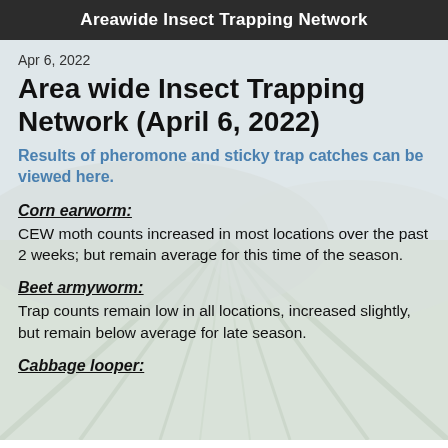Areawide Insect Trapping Network
Apr 6, 2022
Area wide Insect Trapping Network (April 6, 2022)
Results of pheromone and sticky trap catches can be viewed here.
Corn earworm:
CEW moth counts increased in most locations over the past 2 weeks; but remain average for this time of the season.
Beet armyworm:
Trap counts remain low in all locations, increased slightly, but remain below average for late season.
Cabbage looper: